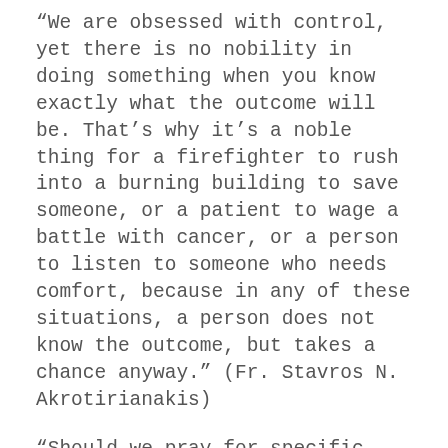“We are obsessed with control, yet there is no nobility in doing something when you know exactly what the outcome will be. That’s why it’s a noble thing for a firefighter to rush into a burning building to save someone, or a patient to wage a battle with cancer, or a person to listen to someone who needs comfort, because in any of these situations, a person does not know the outcome, but takes a chance anyway.” (Fr. Stavros N. Akrotirianakis)
“Should we pray for specific outcomes? Yes and no. We do not, or should not, pray for specific outcomes as our primary reason for prayer. Our motivation for prayer should be love for God and the desire for an ever deepening relationship